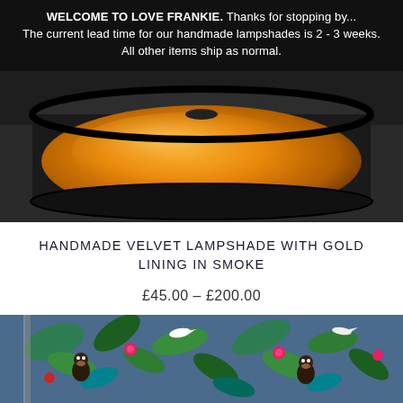WELCOME TO LOVE FRANKIE. Thanks for stopping by... The current lead time for our handmade lampshades is 2 - 3 weeks. All other items ship as normal.
[Figure (photo): Close-up photo of a cylindrical lampshade with a glowing gold/orange metallic interior lining on a dark background, showing the inside of the shade from below]
HANDMADE VELVET LAMPSHADE WITH GOLD LINING IN SMOKE
£45.00 – £200.00
[Figure (photo): Photo of a floral and animal print fabric/wallpaper featuring monkeys, birds, tropical plants and foliage on a blue background]
FANCY A 10% DISCOUNT?